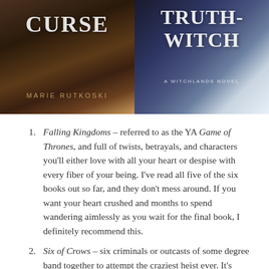[Figure (photo): Two book covers side by side: left shows 'CURSE' by Marie Rutkoski with dark brown tones; right shows 'TRUTHWITCH' a Witchlands novel with blue and white tones]
Falling Kingdoms – referred to as the YA Game of Thrones, and full of twists, betrayals, and characters you'll either love with all your heart or despise with every fiber of your being. I've read all five of the six books out so far, and they don't mess around. If you want your heart crushed and months to spend wandering aimlessly as you wait for the final book, I definitely recommend this.
Six of Crows – six criminals or outcasts of some degree band together to attempt the craziest heist ever. It's thoroughly entertaining and soul-crushing, and the sequel is already out so you can binge the duology. Then after you finish and don't